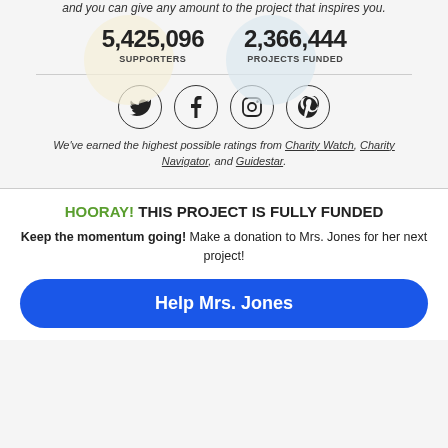and you can give any amount to the project that inspires you.
5,425,096 SUPPORTERS
2,366,444 PROJECTS FUNDED
[Figure (infographic): Four social media icons in circles: Twitter, Facebook, Instagram, Pinterest]
We've earned the highest possible ratings from Charity Watch, Charity Navigator, and Guidestar.
HOORAY! THIS PROJECT IS FULLY FUNDED
Keep the momentum going! Make a donation to Mrs. Jones for her next project!
Help Mrs. Jones